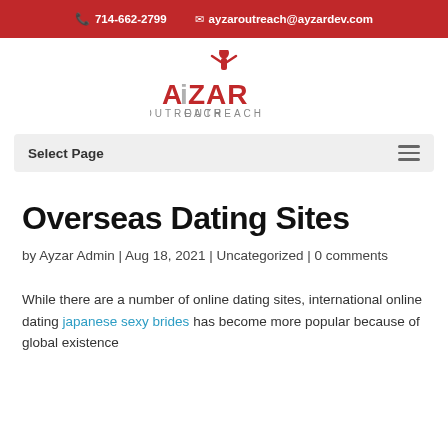714-662-2799   ayzaroutreach@ayzardev.com
[Figure (logo): Ayzar Outreach logo — stylized red text with a figure icon on top]
Select Page
Overseas Dating Sites
by Ayzar Admin | Aug 18, 2021 | Uncategorized | 0 comments
While there are a number of online dating sites, international online dating japanese sexy brides has become more popular because of global existence